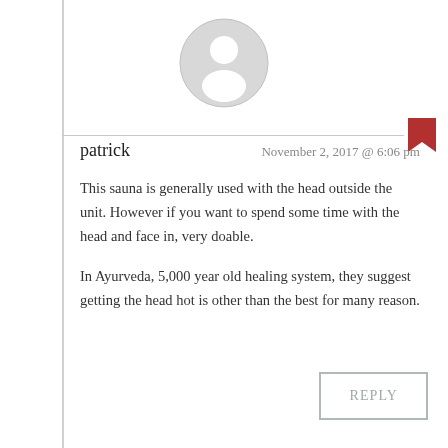[Figure (illustration): Default user avatar: grey circle with a white silhouette of a person (head and shoulders)]
patrick                    November 2, 2017 @ 6:06 pm
This sauna is generally used with the head outside the unit. However if you want to spend some time with the head and face in, very doable.
In Ayurveda, 5,000 year old healing system, they suggest getting the head hot is other than the best for many reason.
REPLY